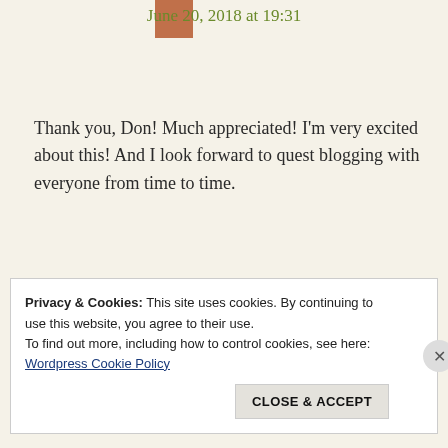June 20, 2018 at 19:31
Thank you, Don! Much appreciated! I'm very excited about this! And I look forward to quest blogging with everyone from time to time.
★ Liked by 1 person
Reply
Privacy & Cookies: This site uses cookies. By continuing to use this website, you agree to their use.
To find out more, including how to control cookies, see here: Wordpress Cookie Policy
CLOSE & ACCEPT